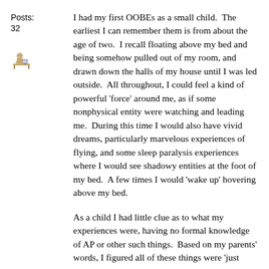Posts:
32
[Figure (illustration): Small pixel-art avatar icon of a person sitting at a desk]
I had my first OOBEs as a small child.  The earliest I can remember them is from about the age of two.  I recall floating above my bed and being somehow pulled out of my room, and drawn down the halls of my house until I was led outside.  All throughout, I could feel a kind of powerful 'force' around me, as if some nonphysical entity were watching and leading me.  During this time I would also have vivid dreams, particularly marvelous experiences of flying, and some sleep paralysis experiences where I would see shadowy entities at the foot of my bed.  A few times I would 'wake up' hovering above my bed.
As a child I had little clue as to what my experiences were, having no formal knowledge of AP or other such things.  Based on my parents' words, I figured all of these things were 'just dreams', and not terribly important.  However, my nonphysical experiences always remained vital to me, and I can honestly say that some of my most beautiful and profound life moments have